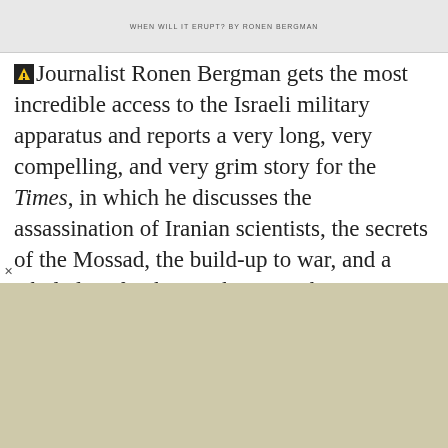[Figure (other): Gray banner image with text 'WHEN WILL IT ERUPT? BY RONEN BERGMAN']
Journalist Ronen Bergman gets the most incredible access to the Israeli military apparatus and reports a very long, very compelling, and very grim story for the Times, in which he discusses the assassination of Iranian scientists, the secrets of the Mossad, the build-up to war, and a whole lot of unknown history. The story's too big to meaningfully excerpt here. Just pour a drink, take a deep breath, and read.
[Figure (other): Beige/tan advertisement strip at bottom of page with close X button]